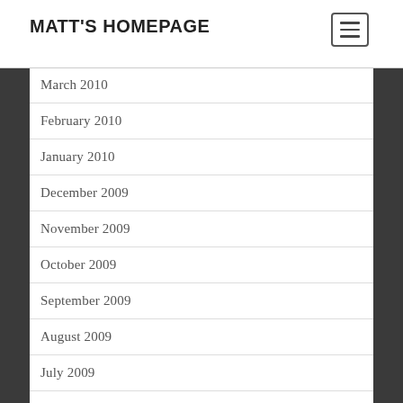MATT'S HOMEPAGE
March 2010
February 2010
January 2010
December 2009
November 2009
October 2009
September 2009
August 2009
July 2009
June 2009
May 2009